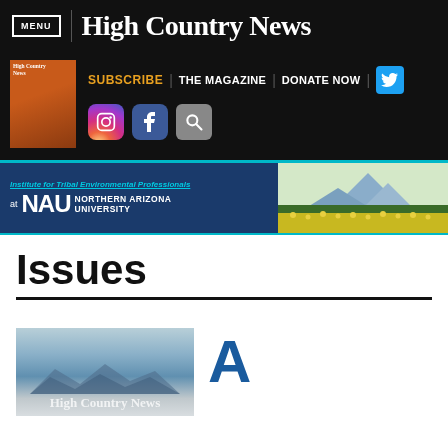MENU | High Country News
[Figure (screenshot): High Country News navigation bar with SUBSCRIBE, THE MAGAZINE, DONATE NOW links, Twitter, Instagram, Facebook, and search icons, plus magazine cover thumbnail]
[Figure (photo): Banner advertisement for Institute for Tribal Environmental Professionals at NAU Northern Arizona University, with mountain/field landscape photo on right]
Issues
[Figure (screenshot): High Country News magazine cover thumbnail with mountain silhouette logo in blue-grey tones]
A